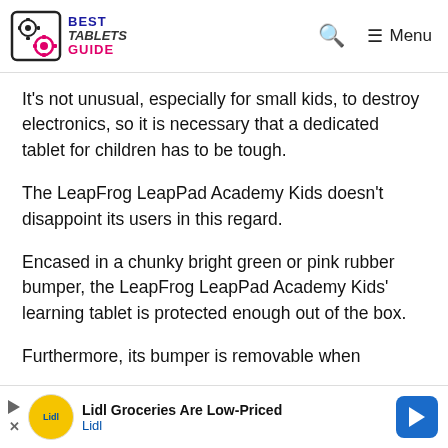BEST TABLETS GUIDE — Search — Menu
It's not unusual, especially for small kids, to destroy electronics, so it is necessary that a dedicated tablet for children has to be tough.
The LeapFrog LeapPad Academy Kids doesn't disappoint its users in this regard.
Encased in a chunky bright green or pink rubber bumper, the LeapFrog LeapPad Academy Kids' learning tablet is protected enough out of the box.
Furthermore, its bumper is removable when
[Figure (screenshot): Advertisement banner for Lidl Groceries Are Low-Priced with Lidl logo and navigation arrow]